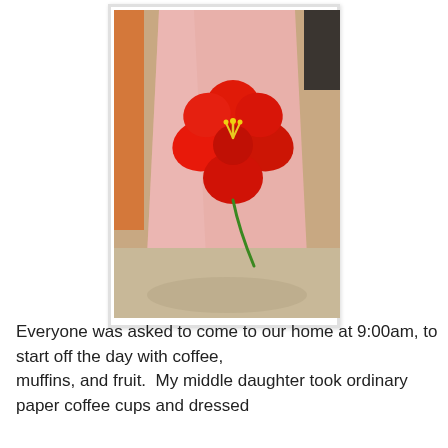[Figure (photo): A pink paper coffee cup with a large red hibiscus flower painted on it, with a green stem. The cup sits on a beige/cream countertop. An orange object is visible to the left and a dark object to the upper right.]
Everyone was asked to come to our home at 9:00am, to start off the day with coffee,
muffins, and fruit.  My middle daughter took ordinary paper coffee cups and dressed